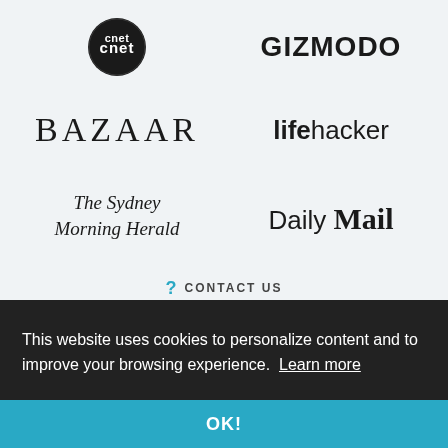[Figure (logo): CNET circular logo - black circle with 'cnet' text in white]
[Figure (logo): GIZMODO logo in bold sans-serif capitals]
[Figure (logo): BAZAAR logo in serif capitals with wide letter-spacing]
[Figure (logo): lifehacker logo - 'life' bold and 'hacker' regular weight]
[Figure (logo): The Sydney Morning Herald logo in blackletter/Gothic script]
[Figure (logo): Daily Mail logo - 'Daily' in sans-serif, 'Mail' in bold serif]
? CONTACT US
This website uses cookies to personalize content and to improve your browsing experience. Learn more
OK!